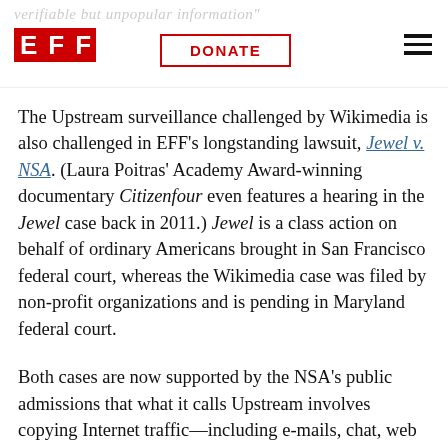verifiable but unpopular information
The Upstream surveillance challenged by Wikimedia is also challenged in EFF's longstanding lawsuit, Jewel v. NSA. (Laura Poitras' Academy Award-winning documentary Citizenfour even features a hearing in the Jewel case back in 2011.) Jewel is a class action on behalf of ordinary Americans brought in San Francisco federal court, whereas the Wikimedia case was filed by non-profit organizations and is pending in Maryland federal court.
Both cases are now supported by the NSA's public admissions that what it calls Upstream involves copying Internet traffic—including e-mails, chat, web browsing and other communications—as the data passes the filters on the backbone of the